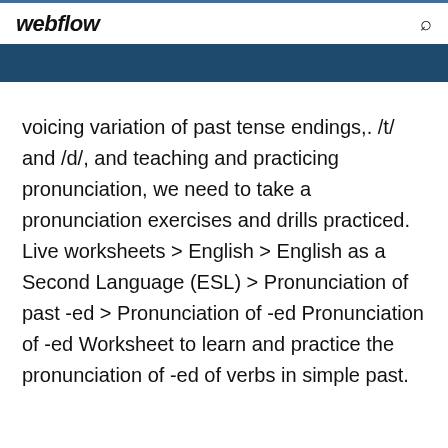webflow
voicing variation of past tense endings,. /t/ and /d/, and teaching and practicing pronunciation, we need to take a pronunciation exercises and drills practiced. Live worksheets > English > English as a Second Language (ESL) > Pronunciation of past -ed > Pronunciation of -ed Pronunciation of -ed Worksheet to learn and practice the pronunciation of -ed of verbs in simple past.